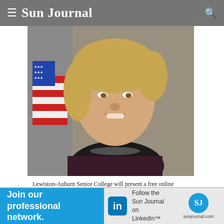Sun Journal
[Figure (photo): Official portrait of Susan Thornton, a woman with blonde hair wearing a dark blazer and floral top, with an American flag in the background.]
Lewiston-Auburn Senior College will present a free online presentation featuring Susan Thornton at 12 p.m. on Friday, Jan. 15, via Zoom. Submitted photo
[Figure (infographic): LinkedIn advertisement for Sun Journal: 'Join our professional network. Follow the Sun Journal on LinkedIn. sunjournal.com']